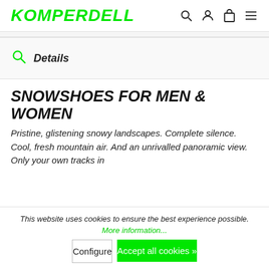KOMPERDELL
Details
SNOWSHOES FOR MEN & WOMEN
Pristine, glistening snowy landscapes. Complete silence. Cool, fresh mountain air. And an unrivalled panoramic view. Only your own tracks in
This website uses cookies to ensure the best experience possible. More information...
Configure
Accept all cookies »